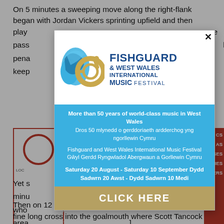On 5 minutes a sweeping move along the right-flank began with Jordan Vickers sprinting upfield and then play...e pass...he pena...keep...
[Figure (illustration): Fishguard & West Wales International Music Festival advertisement popup modal with logo, blue section with bilingual text, and gold 'CLICK HERE' button]
Yet s...minu...who...area...the d...
Then on 12 minutes Delaney, from the right-wing, sent a fine long cross into the goalmouth where Scott Tancock...